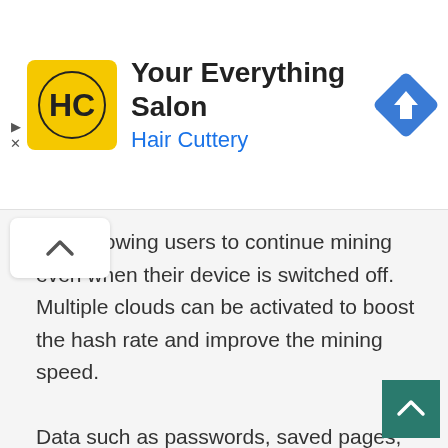[Figure (screenshot): Advertisement banner for Hair Cuttery salon featuring logo, title 'Your Everything Salon', subtitle 'Hair Cuttery', and a blue navigation/directions diamond icon on the right.]
iture allowing users to continue mining even when their device is switched off. Multiple clouds can be activated to boost the hash rate and improve the mining speed.
Data such as passwords, saved pages, extensions, and bookmarks can also be imported from previous browsers so CryptoTab's browser can serve as its complete substitute. This service is compatible with all devices from Tablets and PCs to smartphones